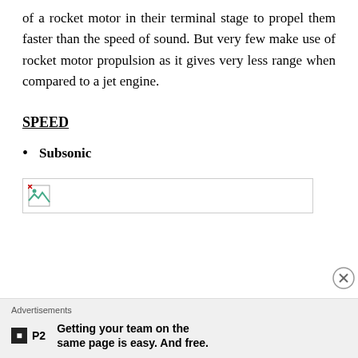of a rocket motor in their terminal stage to propel them faster than the speed of sound. But very few make use of rocket motor propulsion as it gives very less range when compared to a jet engine.
SPEED
Subsonic
[Figure (photo): Broken image placeholder box with a small broken image icon at the left side]
Advertisements
P2 — Getting your team on the same page is easy. And free.